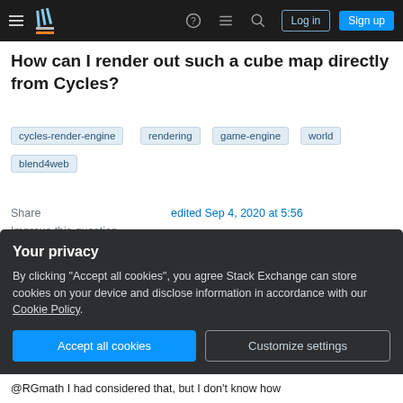Navigation bar with hamburger menu, Stack Exchange logo, help, chat, search icons, Log in and Sign up buttons
How can I render out such a cube map directly from Cycles?
cycles-render-engine
rendering
game-engine
world
blend4web
Share
Improve this question
Follow
edited Sep 4, 2020 at 5:56
asked Feb 14, 2016 at 1:56
Your privacy
By clicking "Accept all cookies", you agree Stack Exchange can store cookies on your device and disclose information in accordance with our Cookie Policy.
Accept all cookies
Customize settings
@RGmath I had considered that, but I don't know how